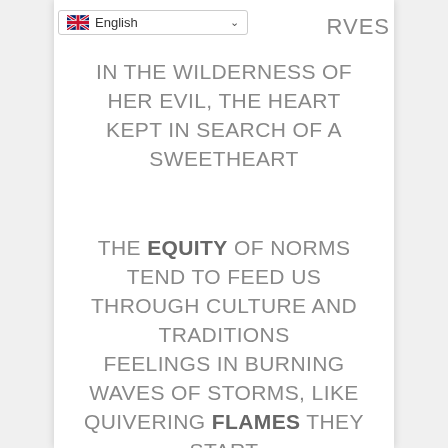[Figure (screenshot): Language selector dropdown showing UK flag and 'English' with chevron]
RVES IN THE WILDERNESS OF HER EVIL, THE HEART KEPT IN SEARCH OF A SWEETHEART
THE EQUITY OF NORMS TEND TO FEED US THROUGH CULTURE AND TRADITIONS FEELINGS IN BURNING WAVES OF STORMS, LIKE QUIVERING FLAMES THEY START